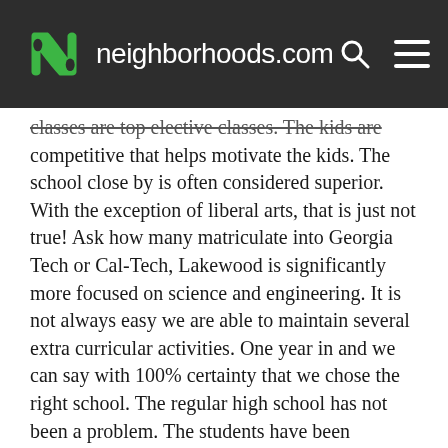neighborhoods.com
classes are top elective classes. The kids are competitive that helps motivate the kids. The school close by is often considered superior. With the exception of liberal arts, that is just not true! Ask how many matriculate into Georgia Tech or Cal-Tech, Lakewood is significantly more focused on science and engineering. It is not always easy we are able to maintain several extra curricular activities. One year in and we can say with 100% certainty that we chose the right school. The regular high school has not been a problem. The students have been friendly and the surrounding neighborhoods are clean. There will always be areas I could nit-pick, I prefer to focus on the benefits that have been offered by this program. The word is getting out and the CAT program is exploding at the seams, my expectation is that it will continue and that will only add to it's reputation as the best of the best will want